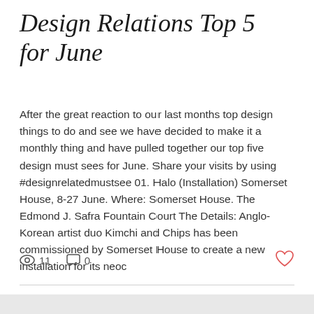Design Relations Top 5 for June
After the great reaction to our last months top design things to do and see we have decided to make it a monthly thing and have pulled together our top five design must sees for June. Share your visits by using #designrelatedmustsee 01. Halo (Installation) Somerset House, 8-27 June. Where: Somerset House. The Edmond J. Safra Fountain Court The Details: Anglo-Korean artist duo Kimchi and Chips has been commissioned by Somerset House to create a new installation for its neoc
11  0